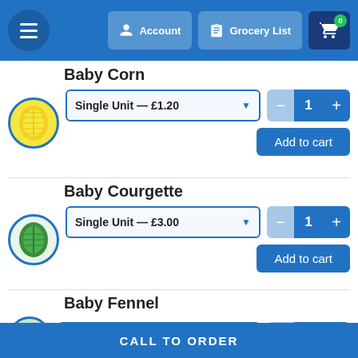Menu | Account | Grocery List | Cart (0)
Baby Corn
Single Unit — £1.20  Quantity: 1  Add to cart
Baby Courgette
Single Unit — £3.00  Quantity: 1  Add to cart
Baby Fennel
Single Unit — £3.00  Quantity: 1
CALL TO ORDER